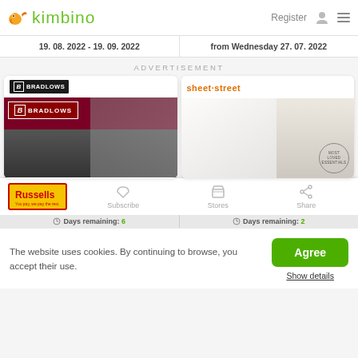kimbino | Register
19. 08. 2022 - 19. 09. 2022
from Wednesday 27. 07. 2022
ADVERTISEMENT
[Figure (logo): Bradlows furniture store logo and catalogue cover image showing black leather sofas]
[Figure (logo): Sheet Street store logo and catalogue cover image showing bedding with Most Loved Essentials badge]
[Figure (logo): Russells store logo with Subscribe, Stores, Share toolbar buttons]
Days remaining: 6
Days remaining: 2
The website uses cookies. By continuing to browse, you accept their use.
Agree
Show details